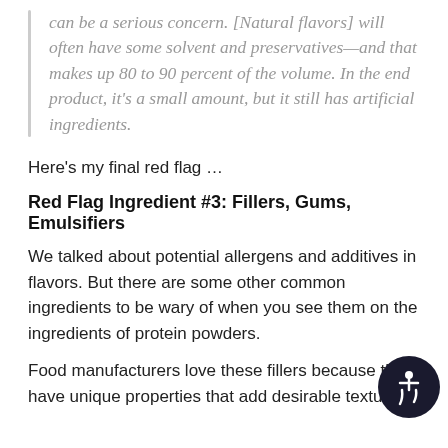can be a serious concern. [Natural flavors] will often have some solvent and preservatives—and that makes up 80 to 90 percent of the volume. In the end product, it's a small amount, but it still has artificial ingredients.
Here's my final red flag …
Red Flag Ingredient #3: Fillers, Gums, Emulsifiers
We talked about potential allergens and additives in flavors. But there are some other common ingredients to be wary of when you see them on the ingredients of protein powders.
Food manufacturers love these fillers because they have unique properties that add desirable texture